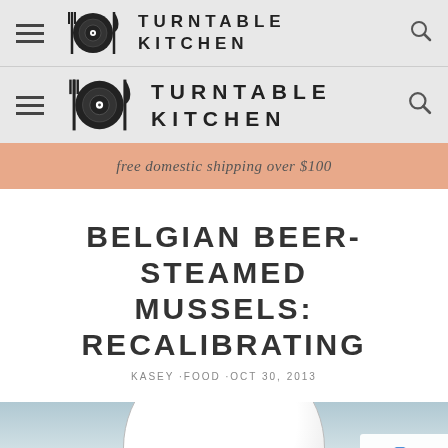[Figure (logo): Turntable Kitchen website header with logo (fork, vinyl record, knife icon) and hamburger menu - shown twice (two nav rows)]
free domestic shipping over $100
BELGIAN BEER-STEAMED MUSSELS: RECALIBRATING
KASEY · FOOD · OCT 30, 2013
[Figure (photo): Partial view of a white plate on a light blue/grey background, partially cut off at bottom of page]